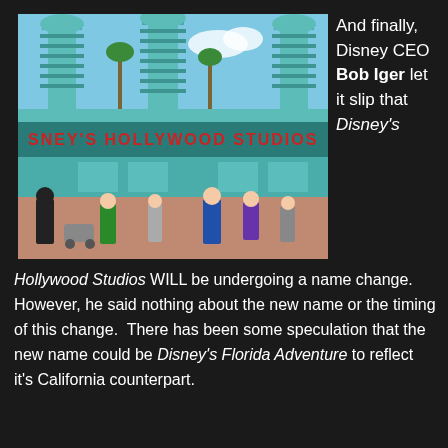[Figure (photo): Exterior photo of Disney's Hollywood Studios park entrance, showing the iconic sign with teal-colored architectural towers and guests walking in front]
And finally, Disney CEO Bob Iger let it slip that Disney's Hollywood Studios WILL be undergoing a name change.  However, he said nothing about the new name or the timing of this change.  There has been some speculation that the new name could be Disney's Florida Adventure to reflect it's California counterpart.